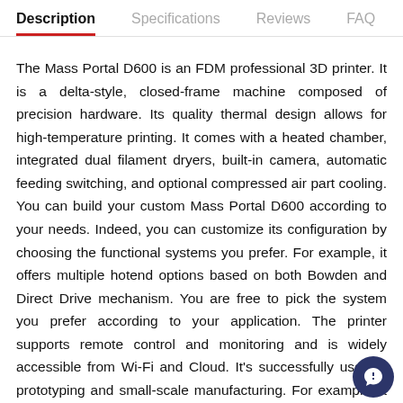Description | Specifications | Reviews | FAQ
The Mass Portal D600 is an FDM professional 3D printer. It is a delta-style, closed-frame machine composed of precision hardware. Its quality thermal design allows for high-temperature printing. It comes with a heated chamber, integrated dual filament dryers, built-in camera, automatic feeding switching, and optional compressed air part cooling. You can build your custom Mass Portal D600 according to your needs. Indeed, you can customize its configuration by choosing the functional systems you prefer. For example, it offers multiple hotend options based on both Bowden and Direct Drive mechanism. You are free to pick the system you prefer according to your application. The printer supports remote control and monitoring and is widely accessible from Wi-Fi and Cloud. It's successfully used in prototyping and small-scale manufacturing. For example, it was used by several companies to print high performance, functional parts. Continue